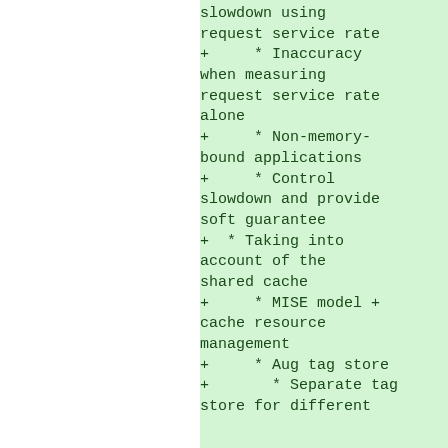slowdown using request service rate
+ * Inaccuracy when measuring request service rate alone
+ * Non-memory-bound applications
+ * Control slowdown and provide soft guarantee
+ * Taking into account of the shared cache
+ * MISE model + cache resource management
+ * Aug tag store
+ * Separate tag store for different